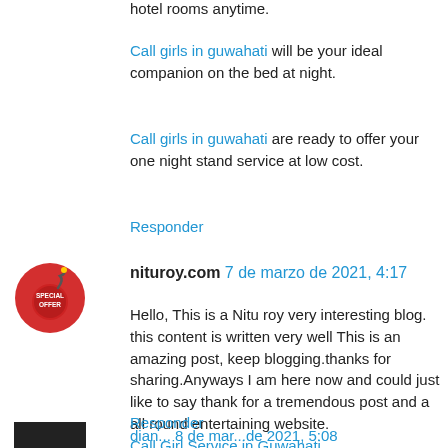hotel rooms anytime.
Call girls in guwahati will be your ideal companion on the bed at night.
Call girls in guwahati are ready to offer your one night stand service at low cost.
Responder
nituroy.com 7 de marzo de 2021, 4:17
Hello, This is a Nitu roy very interesting blog. this content is written very well This is an amazing post, keep blogging.thanks for sharing.Anyways I am here now and could just like to say thank for a tremendous post and a all round entertaining website. Call Girl Service in Guwahati Guwahati Escort
Responder
dian... 8 de mar...de 2021, 5:08